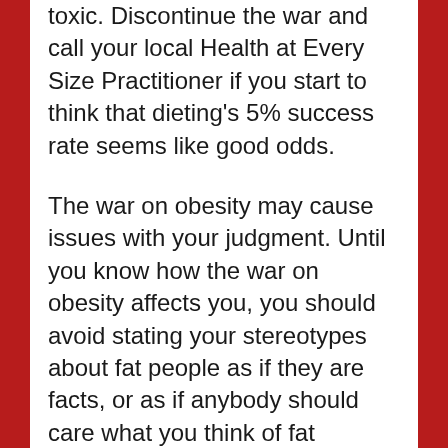toxic. Discontinue the war and call your local Health at Every Size Practitioner if you start to think that dieting's 5% success rate seems like good odds.
The war on obesity may cause issues with your judgment. Until you know how the war on obesity affects you, you should avoid stating your stereotypes about fat people as if they are facts, or as if anybody should care what you think of fat people.
In extreme cases the war on obesity can lead to a complete loss of your ability to treat people appropriately or make good choices.  Discontinue the war on obesity immediately if you find yourself spending time stalking and harassing fat